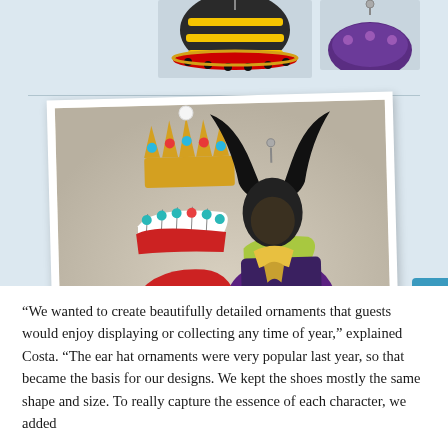[Figure (photo): Top portion showing two Disney character shoe ornaments partially visible at the top of the page, cropped. A bee/striped hat ornament on the left and a purple shoe ornament on the right.]
[Figure (photo): Main polaroid-style photo showing two Disney villain shoe ornaments: the Queen of Hearts ear hat shoe ornament (red with gold crown, colorful collar, and scepter) on the left, and Maleficent shoe ornament (black horns, purple and green) on the right, displayed together.]
“We wanted to create beautifully detailed ornaments that guests would enjoy displaying or collecting any time of year,” explained Costa. “The ear hat ornaments were very popular last year, so that became the basis for our designs. We kept the shoes mostly the same shape and size. To really capture the essence of each character, we added